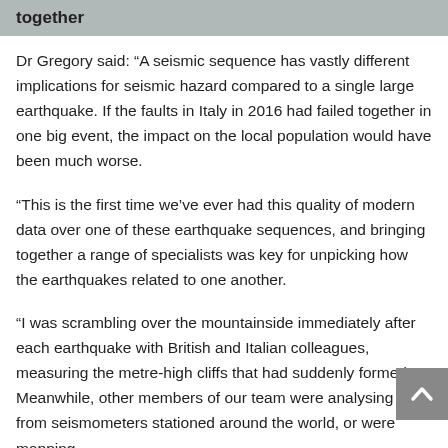together
Dr Gregory said: “A seismic sequence has vastly different implications for seismic hazard compared to a single large earthquake. If the faults in Italy in 2016 had failed together in one big event, the impact on the local population would have been much worse.
“This is the first time we’ve ever had this quality of modern data over one of these earthquake sequences, and bringing together a range of specialists was key for unpicking how the earthquakes related to one another.
“I was scrambling over the mountainside immediately after each earthquake with British and Italian colleagues, measuring the metre-high cliffs that had suddenly formed. Meanwhile, other members of our team were analysing data from seismometers stationed around the world, or were mapping